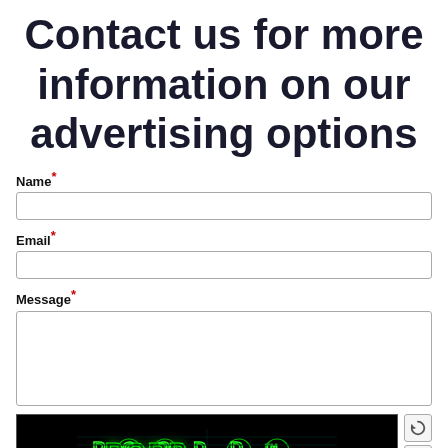Contact us for more information on our advertising options
Name*
Email*
Message*
[Figure (other): BotDetect CakePHP CAPTCHA Form Validation widget showing a CAPTCHA image with stylized green 'BORP' text on black background, with refresh and audio buttons]
BotDetect CakePHP CAPTCHA Form Validation